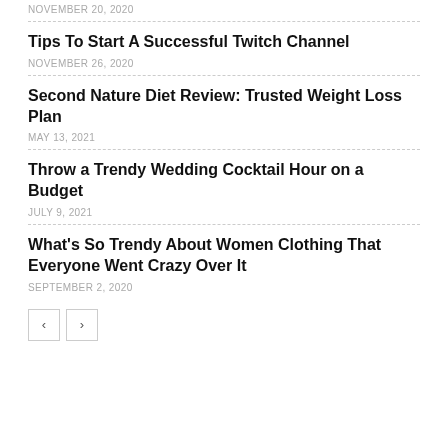NOVEMBER 20, 2020
Tips To Start A Successful Twitch Channel
NOVEMBER 26, 2020
Second Nature Diet Review: Trusted Weight Loss Plan
MAY 13, 2021
Throw a Trendy Wedding Cocktail Hour on a Budget
JULY 9, 2021
What's So Trendy About Women Clothing That Everyone Went Crazy Over It
SEPTEMBER 2, 2020